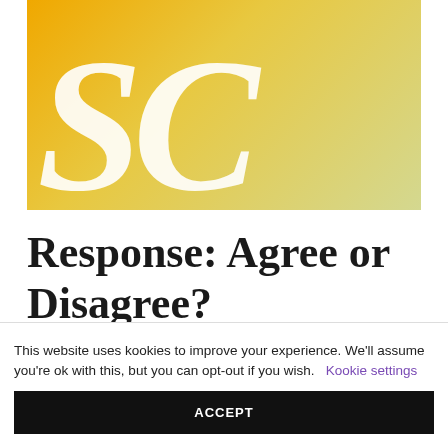[Figure (logo): Yellow-gold gradient background with large stylized 'SC' letters in white, partially cropped]
Response: Agree or Disagree?
This website uses kookies to improve your experience. We'll assume you're ok with this, but you can opt-out if you wish.
Kookie settings
ACCEPT